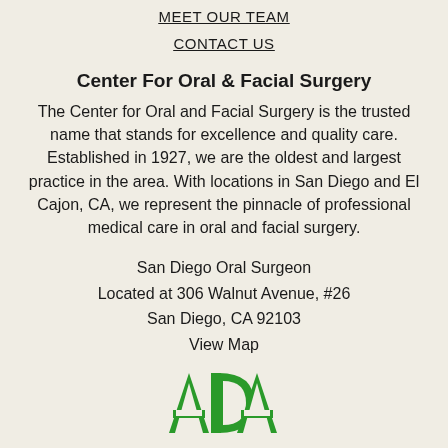MEET OUR TEAM
CONTACT US
Center For Oral & Facial Surgery
The Center for Oral and Facial Surgery is the trusted name that stands for excellence and quality care. Established in 1927, we are the oldest and largest practice in the area. With locations in San Diego and El Cajon, CA, we represent the pinnacle of professional medical care in oral and facial surgery.
San Diego Oral Surgeon
Located at 306 Walnut Avenue, #26
San Diego, CA 92103
View Map
[Figure (logo): ADA (American Dental Association) logo in green letters]